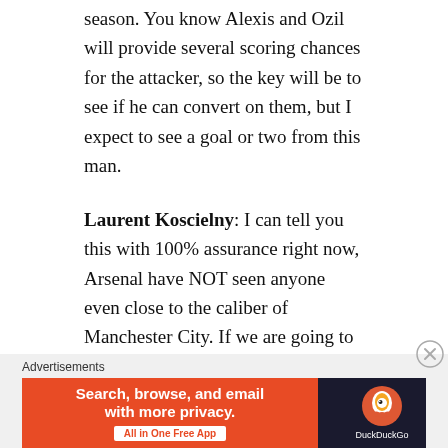season. You know Alexis and Ozil will provide several scoring chances for the attacker, so the key will be to see if he can convert on them, but I expect to see a goal or two from this man.
Laurent Koscielny: I can tell you this with 100% assurance right now, Arsenal have NOT seen anyone even close to the caliber of Manchester City. If we are going to attempt to win this match, our defense is going to need to be spot-on, and that all stems from Koscielny. I want to see the aggressive, screaming, slide-tackling Koscielny I saw two seasons ago.
[Figure (other): DuckDuckGo advertisement banner with orange background on left saying 'Search, browse, and email with more privacy. All in One Free App' and dark background on right with DuckDuckGo logo and name]